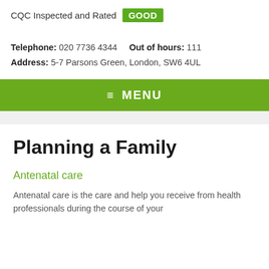CQC Inspected and Rated GOOD
Telephone: 020 7736 4344   Out of hours: 111
Address: 5-7 Parsons Green, London, SW6 4UL
≡ MENU
Planning a Family
Antenatal care
Antenatal care is the care and help you receive from health professionals during the course of your